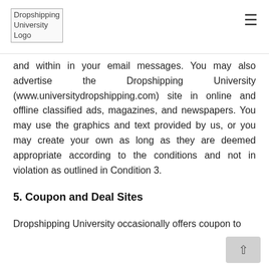Dropshipping University Logo
and within in your email messages. You may also advertise the Dropshipping University (www.universitydropshipping.com) site in online and offline classified ads, magazines, and newspapers. You may use the graphics and text provided by us, or you may create your own as long as they are deemed appropriate according to the conditions and not in violation as outlined in Condition 3.
5. Coupon and Deal Sites
Dropshipping University occasionally offers coupon to select affiliates and to encourage better subscriber outf...